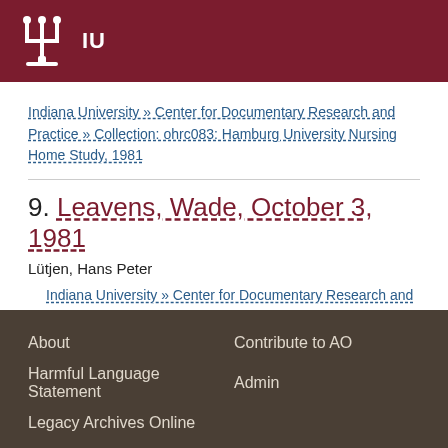IU
Indiana University » Center for Documentary Research and Practice » Collection: ohrc083: Hamburg University Nursing Home Study, 1981
9. Leavens, Wade, October 3, 1981
Lütjen, Hans Peter
Indiana University » Center for Documentary Research and Practice » Collection: ohrc083: Hamburg University Nursing Home Study, 1981
About   Contribute to AO   Harmful Language Statement   Admin   Legacy Archives Online